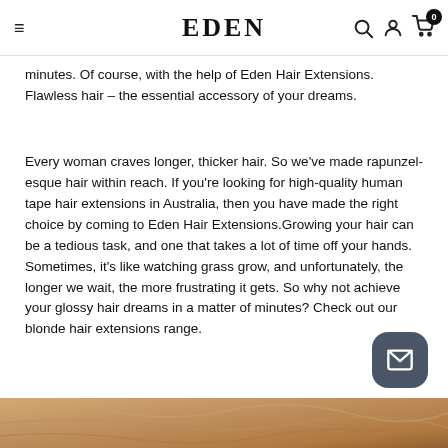EDEN — navigation bar with hamburger menu, search, account, and cart (0) icons
minutes. Of course, with the help of Eden Hair Extensions. Flawless hair – the essential accessory of your dreams.
Every woman craves longer, thicker hair. So we've made rapunzel-esque hair within reach. If you're looking for high-quality human tape hair extensions in Australia, then you have made the right choice by coming to Eden Hair Extensions.Growing your hair can be a tedious task, and one that takes a lot of time off your hands. Sometimes, it's like watching grass grow, and unfortunately, the longer we wait, the more frustrating it gets. So why not achieve your glossy hair dreams in a matter of minutes? Check out our blonde hair extensions range.
[Figure (photo): Partial photo of a woman with blonde hair visible at the bottom of the page]